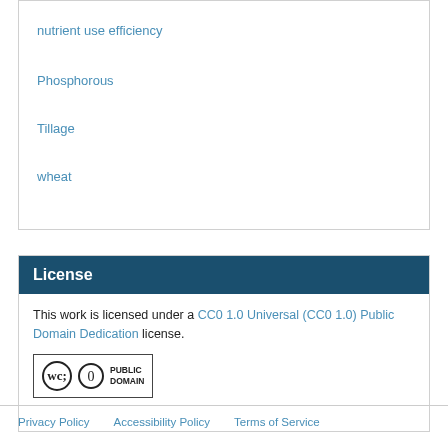nutrient use efficiency
Phosphorous
Tillage
wheat
License
This work is licensed under a CC0 1.0 Universal (CC0 1.0) Public Domain Dedication license.
[Figure (logo): Creative Commons CC0 Public Domain badge]
Privacy Policy    Accessibility Policy    Terms of Service